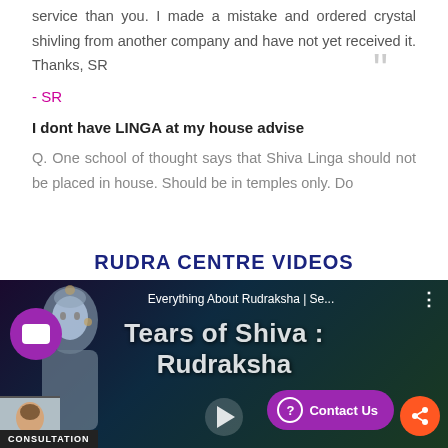service than you. I made a mistake and ordered crystal shivling from another company and have not yet received it. Thanks, SR
- SR
I dont have LINGA at my house advise
Q. One school of thought says that Shiva Linga should not be placed in house. Should be in temples only. Do
RUDRA CENTRE VIDEOS
[Figure (screenshot): Video thumbnail for 'Everything About Rudraksha | Se...' showing 'Tears of Shiva: Rudraksha' with an image of Lord Shiva, a play button, Contact Us button, and CONSULTATION badge]